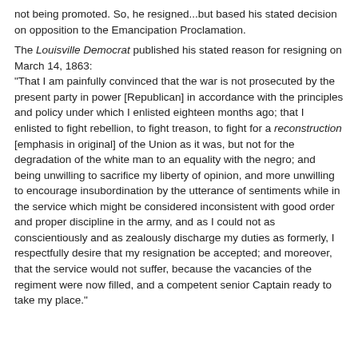not being promoted. So, he resigned...but based his stated decision on opposition to the Emancipation Proclamation.
The Louisville Democrat published his stated reason for resigning on March 14, 1863: "That I am painfully convinced that the war is not prosecuted by the present party in power [Republican] in accordance with the principles and policy under which I enlisted eighteen months ago; that I enlisted to fight rebellion, to fight treason, to fight for a reconstruction [emphasis in original] of the Union as it was, but not for the degradation of the white man to an equality with the negro; and being unwilling to sacrifice my liberty of opinion, and more unwilling to encourage insubordination by the utterance of sentiments while in the service which might be considered inconsistent with good order and proper discipline in the army, and as I could not as conscientiously and as zealously discharge my duties as formerly, I respectfully desire that my resignation be accepted; and moreover, that the service would not suffer, because the vacancies of the regiment were now filled, and a competent senior Captain ready to take my place."